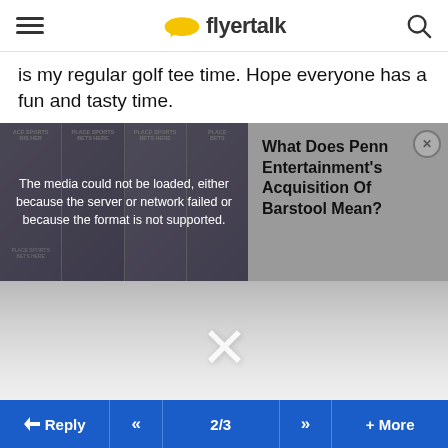flyertalk
is my regular golf tee time. Hope everyone has a fun and tasty time.
[Figure (screenshot): Media player area showing a video with 'The media could not be loaded, either because the server or network failed or because the format is not supported.' error overlay. On the right side, an article card reads 'What Does Penn Entertainment's Acquisition Of Barstool Mean?' with a close button. Below is a gray area with a large X/close button.]
Reply  <<  2/3  >>  + More